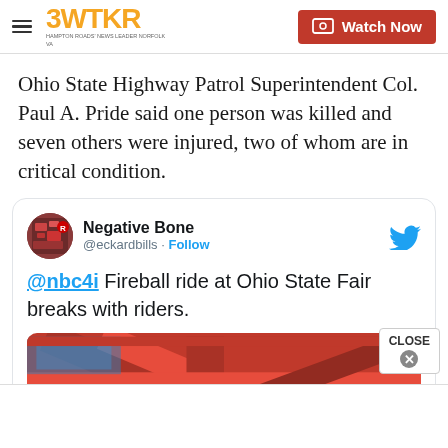3WTKR | Watch Now
Ohio State Highway Patrol Superintendent Col. Paul A. Pride said one person was killed and seven others were injured, two of whom are in critical condition.
[Figure (screenshot): Embedded tweet from @eckardbills (Negative Bone) reading: '@nbc4i Fireball ride at Ohio State Fair breaks with riders.' with an image of a red fairground ride structure.]